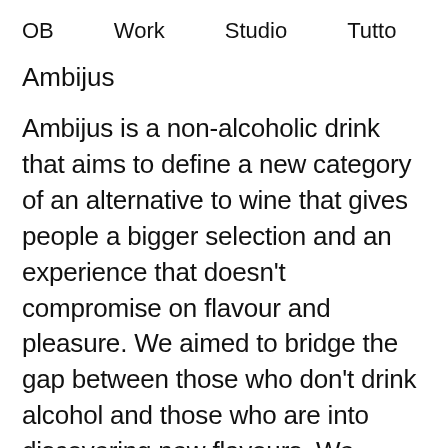OB   Work   Studio   Tutto
Ambijus
Ambijus is a non-alcoholic drink that aims to define a new category of an alternative to wine that gives people a bigger selection and an experience that doesn't compromise on flavour and pleasure. We aimed to bridge the gap between those who don't drink alcohol and those who are into discovering new flavours. We wanted to explore the NOLO (No or Low Alcohol) category in a novel way, creating an intriguing look that takes on the form of enticing...